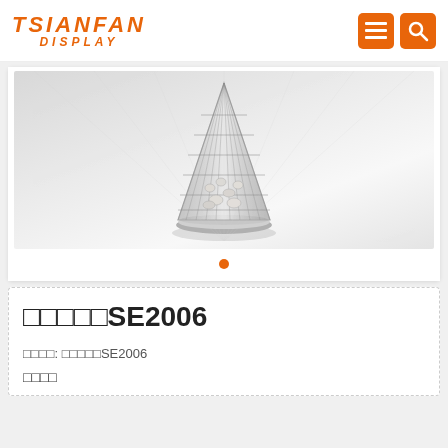TSIANFAN DISPLAY
[Figure (photo): Product photo of a cone-shaped wire mesh display stand with a round metallic base, shown on a light gray background]
□□□□□SE2006
□□□□: □□□□□SE2006
□□□□